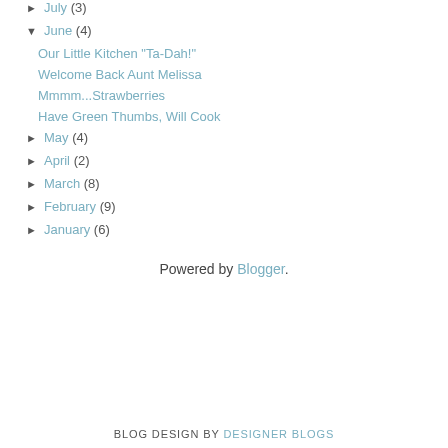► July (3)
▼ June (4)
Our Little Kitchen "Ta-Dah!"
Welcome Back Aunt Melissa
Mmmm...Strawberries
Have Green Thumbs, Will Cook
► May (4)
► April (2)
► March (8)
► February (9)
► January (6)
Powered by Blogger.
BLOG DESIGN BY DESIGNER BLOGS